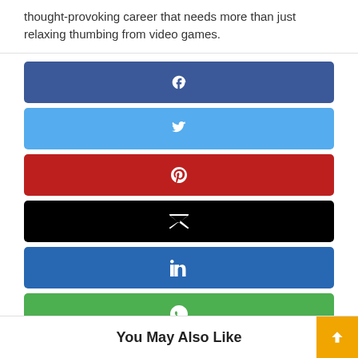thought-provoking career that needs more than just relaxing thumbing from video games.
[Figure (infographic): Six social media share buttons stacked vertically: Facebook (dark blue, f icon), Twitter (light blue, bird icon), Pinterest (red, P icon), Email (black, envelope icon), LinkedIn (blue, in icon), WhatsApp (green, phone-in-bubble icon)]
You May Also Like